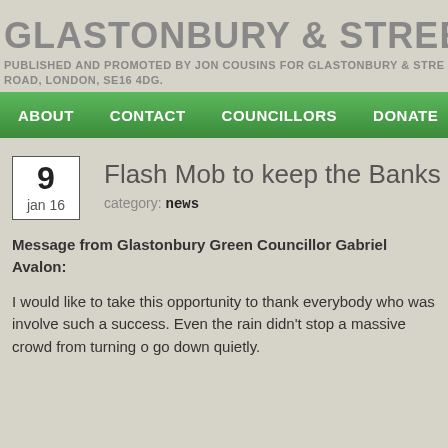GLASTONBURY & STREET GRE
PUBLISHED AND PROMOTED BY JON COUSINS FOR GLASTONBURY & STRE ROAD, LONDON, SE16 4DG.
[Figure (other): Green navigation bar with menu items: ABOUT, CONTACT, COUNCILLORS, DONATE, LINKS]
Flash Mob to keep the Banks in Glastonbu
category: news
Message from Glastonbury Green Councillor Gabriel Avalon:
I would like to take this opportunity to thank everybody who was involve such a success. Even the rain didn't stop a massive crowd from turning o go down quietly.